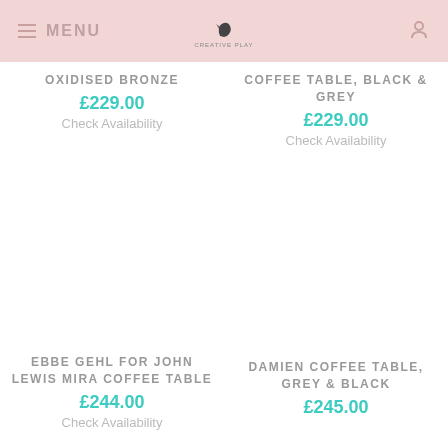MENU | [logo] | [icon]
OXIDISED BRONZE
£229.00
Check Availability
COFFEE TABLE, BLACK & GREY
£229.00
Check Availability
EBBE GEHL FOR JOHN LEWIS MIRA COFFEE TABLE
£244.00
Check Availability
DAMIEN COFFEE TABLE, GREY & BLACK
£245.00